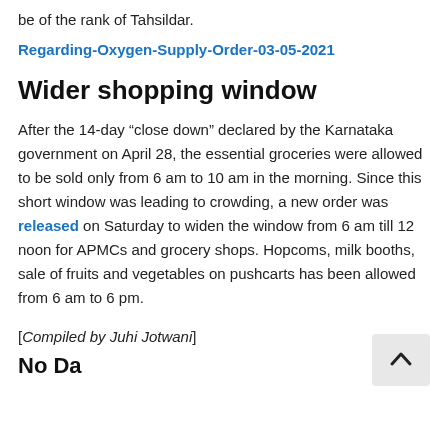be of the rank of Tahsildar.
Regarding-Oxygen-Supply-Order-03-05-2021
Wider shopping window
After the 14-day “close down” declared by the Karnataka government on April 28, the essential groceries were allowed to be sold only from 6 am to 10 am in the morning. Since this short window was leading to crowding, a new order was released on Saturday to widen the window from 6 am till 12 noon for APMCs and grocery shops. Hopcoms, milk booths, sale of fruits and vegetables on pushcarts has been allowed from 6 am to 6 pm.
[Compiled by Juhi Jotwani]